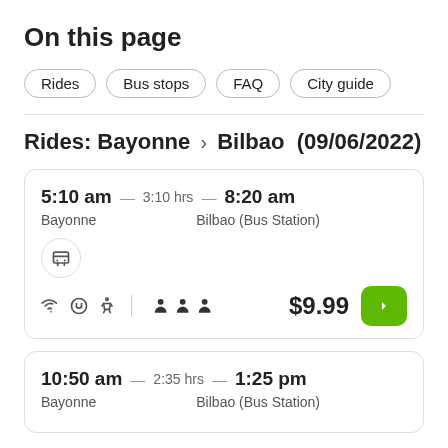On this page
Rides
Bus stops
FAQ
City guide
Rides: Bayonne > Bilbao (09/06/2022)
5:10 am — 3:10 hrs — 8:20 am
Bayonne
Bilbao (Bus Station)
$9.99
10:50 am — 2:35 hrs — 1:25 pm
Bayonne
Bilbao (Bus Station)